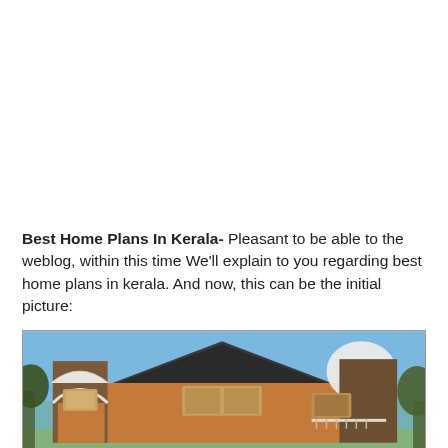Best Home Plans In Kerala- Pleasant to be able to the weblog, within this time We'll explain to you regarding best home plans in kerala. And now, this can be the initial picture:
[Figure (photo): Exterior rendering of a modern Kerala-style two-storey house with brick facade, arched entryway, dark shingle roof, white curved parapet, wooden window shutters, and blue sky background.]